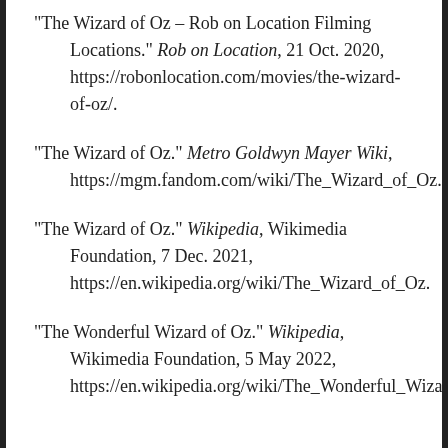“The Wizard of Oz – Rob on Location Filming Locations.” Rob on Location, 21 Oct. 2020, https://robonlocation.com/movies/the-wizard-of-oz/.
“The Wizard of Oz.” Metro Goldwyn Mayer Wiki, https://mgm.fandom.com/wiki/The_Wizard_of_Oz.
“The Wizard of Oz.” Wikipedia, Wikimedia Foundation, 7 Dec. 2021, https://en.wikipedia.org/wiki/The_Wizard_of_Oz.
“The Wonderful Wizard of Oz.” Wikipedia, Wikimedia Foundation, 5 May 2022, https://en.wikipedia.org/wiki/The_Wonderful_Wizard…